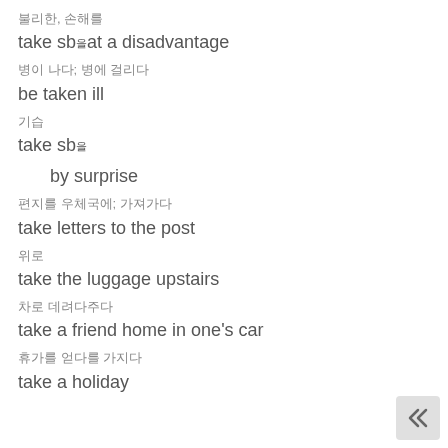불리한, 손해를
take sb을 at a disadvantage
병이 나다; 병에 걸리다
be taken ill
기습
take sb을
by surprise
편지를 우체국에; 가져가다
take letters to the post
위로
take the luggage upstairs
차로 데려다주다
take a friend home in one's car
휴가를 얻다를 가지다
take a holiday